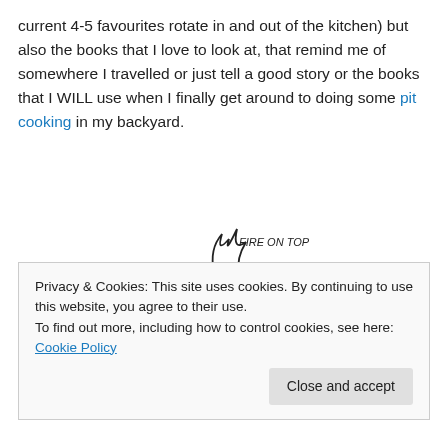current 4-5 favourites rotate in and out of the kitchen) but also the books that I love to look at, that remind me of somewhere I travelled or just tell a good story or the books that I WILL use when I finally get around to doing some pit cooking in my backyard.
[Figure (illustration): Hand-drawn sketch of pit cooking showing fire on top, 3 inches of dirt layer, and green leaves layer beneath, with a bone/meat item on the side.]
Privacy & Cookies: This site uses cookies. By continuing to use this website, you agree to their use.
To find out more, including how to control cookies, see here: Cookie Policy